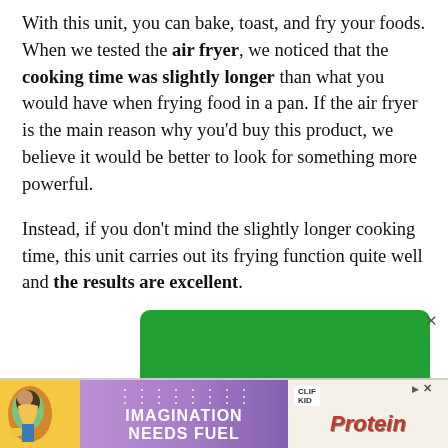With this unit, you can bake, toast, and fry your foods. When we tested the air fryer, we noticed that the cooking time was slightly longer than what you would have when frying food in a pan. If the air fryer is the main reason why you'd buy this product, we believe it would be better to look for something more powerful.
Instead, if you don't mind the slightly longer cooking time, this unit carries out its frying function quite well and the results are excellent.
[Figure (other): Green advertisement banner with close button (X) in top right corner]
[Figure (other): Advertisement banner for Clif Kid protein bar with purple/violet background, child image on left, 'IMAGINATION NEEDS FUEL' text in center, and Clif Kid Protein product image on right with close button]